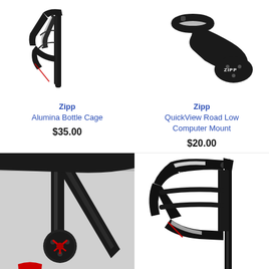[Figure (photo): Zipp Alumina Bottle Cage product photo - black aluminum bottle cage with white Zipp logo text]
Zipp
Alumina Bottle Cage
$35.00
[Figure (photo): Zipp QuickView Road Low Computer Mount product photo - black computer mount with Zipp branding]
Zipp
QuickView Road Low Computer Mount
$20.00
[Figure (photo): Zipp product mounted on bicycle frame - close-up of black component with red accent mounted on bike]
[Figure (photo): Zipp bottle cage product photo - black bottle cage with white Zipp logo stripe]